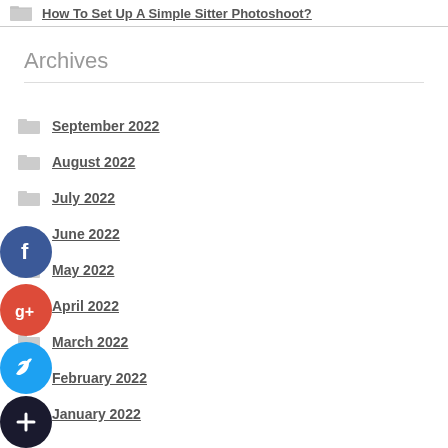How To Set Up A Simple Sitter Photoshoot?
Archives
September 2022
August 2022
July 2022
June 2022
May 2022
April 2022
March 2022
February 2022
January 2022